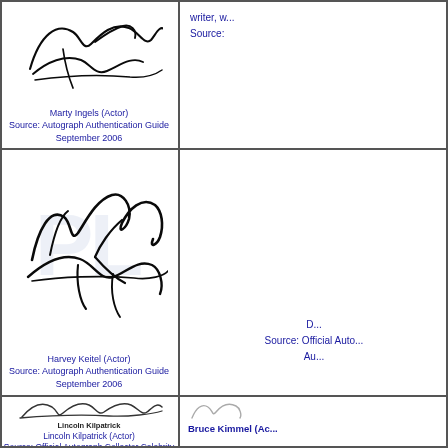[Figure (illustration): Marty Ingels autograph signature]
Marty Ingels (Actor)
Source: Autograph Authentication Guide
September 2006
[Figure (illustration): Partial right column - writer source text (cropped)]
[Figure (illustration): Harvey Keitel autograph signature with watermark]
Harvey Keitel (Actor)
Source: Autograph Authentication Guide
September 2006
[Figure (illustration): Partial right column - D... Source: Official Auto... Au... (cropped)]
[Figure (illustration): Lincoln Kilpatrick autograph signature]
Lincoln Kilpatrick (Actor)
Source: Official Autograph Collector Celebrity
Autograph Authentication Guide
[Figure (illustration): Bruce Kimmel autograph and partial text (cropped)]
Bruce Kimmel (Ac...

Source: